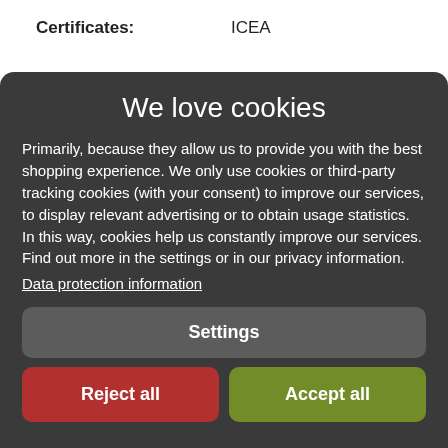Certificates: ICEA
We love cookies
Primarily, because they allow us to provide you with the best shopping experience. We only use cookies or third-party tracking cookies (with your consent) to improve our services, to display relevant advertising or to obtain usage statistics. In this way, cookies help us constantly improve our services. Find out more in the settings or in our privacy information.
Data protection information
Settings
Reject all
Accept all